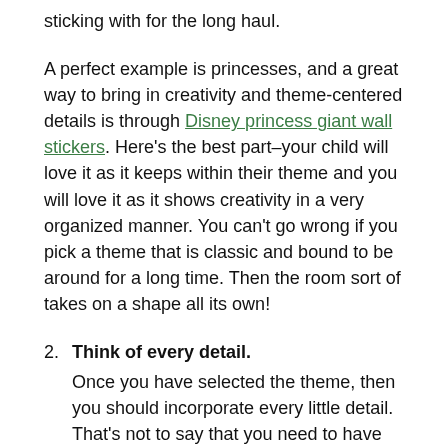sticking with for the long haul.
A perfect example is princesses, and a great way to bring in creativity and theme-centered details is through Disney princess giant wall stickers. Here’s the best part–your child will love it as it keeps within their theme and you will love it as it shows creativity in a very organized manner. You can’t go wrong if you pick a theme that is classic and bound to be around for a long time. Then the room sort of takes on a shape all its own!
2. Think of every detail. Once you have selected the theme, then you should incorporate every little detail. That’s not to say that you need to have all princesses or cars from ceiling to floor, but you should use the theme as a centerpiece.
Incorporate every single detail in the theme, associated colors, or elements from this idea so that the room is